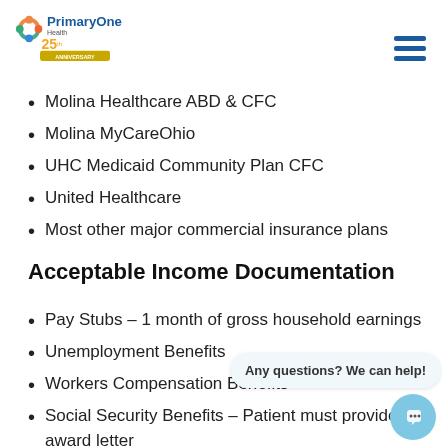[Figure (logo): PrimaryOne Health 25th Anniversary logo with colorful circular icon]
Molina Healthcare ABD & CFC
Molina MyCareOhio
UHC Medicaid Community Plan CFC
United Healthcare
Most other major commercial insurance plans
Acceptable Income Documentation
Pay Stubs – 1 month of gross household earnings
Unemployment Benefits
Workers Compensation Benefits
Social Security Benefits – Patient must provide award letter
Child Support
Alimony